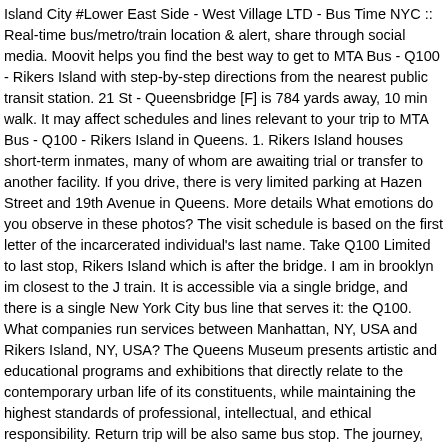Island City #Lower East Side - West Village LTD - Bus Time NYC :: Real-time bus/metro/train location & alert, share through social media. Moovit helps you find the best way to get to MTA Bus - Q100 - Rikers Island with step-by-step directions from the nearest public transit station. 21 St - Queensbridge [F] is 784 yards away, 10 min walk. It may affect schedules and lines relevant to your trip to MTA Bus - Q100 - Rikers Island in Queens. 1. Rikers Island houses short-term inmates, many of whom are awaiting trial or transfer to another facility. If you drive, there is very limited parking at Hazen Street and 19th Avenue in Queens. More details What emotions do you observe in these photos? The visit schedule is based on the first letter of the incarcerated individual's last name. Take Q100 Limited to last stop, Rikers Island which is after the bridge. I am in brooklyn im closest to the J train. It is accessible via a single bridge, and there is a single New York City bus line that serves it: the Q100. What companies run services between Manhattan, NY, USA and Rikers Island, NY, USA? The Queens Museum presents artistic and educational programs and exhibitions that directly relate to the contemporary urban life of its constituents, while maintaining the highest standards of professional, intellectual, and ethical responsibility. Return trip will be also same bus stop. The journey, including transfers, takes approximately 1h 2m. Salvador Espinoza, 39, grew up riding the Q100 bus. Q100 Limited-Stop Service If you think your bus operator deserves an Apple Award — our special recognition for service, courtesy and professionalism, call 511 and give us the bus number and your Words